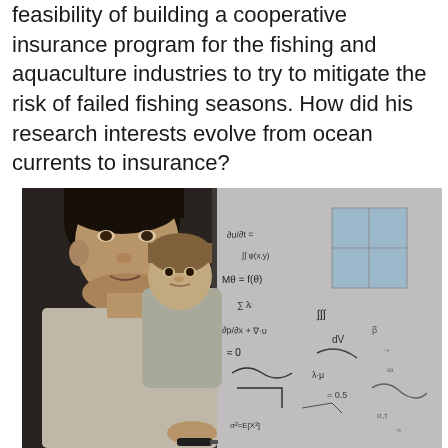feasibility of building a cooperative insurance program for the fishing and aquaculture industries to try to mitigate the risk of failed fishing seasons. How did his research interests evolve from ocean currents to insurance?
[Figure (photo): A man holding a young child, both looking at and writing on a whiteboard covered with equations and formulas.]